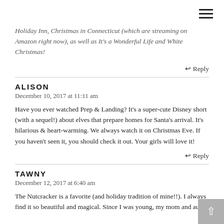Holiday Inn, Christmas in Connecticut (which are streaming on Amazon right now), as well as It's a Wonderful Life and White Christmas!
↩ Reply
ALISON
December 10, 2017 at 11:11 am
Have you ever watched Prep & Landing? It's a super-cute Disney short (with a sequel!) about elves that prepare homes for Santa's arrival. It's hilarious & heart-warming. We always watch it on Christmas Eve. If you haven't seen it, you should check it out. Your girls will love it!
↩ Reply
TAWNY
December 12, 2017 at 6:40 am
The Nutcracker is a favorite (and holiday tradition of mine!!). I always find it so beautiful and magical. Since I was young, my mom and aunt...